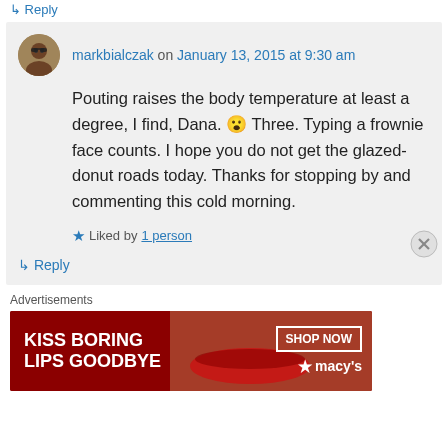↳ Reply
markbialczak on January 13, 2015 at 9:30 am
Pouting raises the body temperature at least a degree, I find, Dana. 😮 Three. Typing a frownie face counts. I hope you do not get the glazed-donut roads today. Thanks for stopping by and commenting this cold morning.
Liked by 1 person
↳ Reply
Advertisements
[Figure (photo): Macy's advertisement banner: KISS BORING LIPS GOODBYE with SHOP NOW button and Macy's star logo, dark red background with woman's lips]